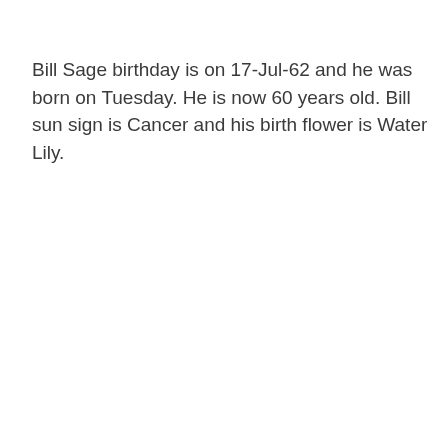Bill Sage birthday is on 17-Jul-62 and he was born on Tuesday. He is now 60 years old. Bill sun sign is Cancer and his birth flower is Water Lily.